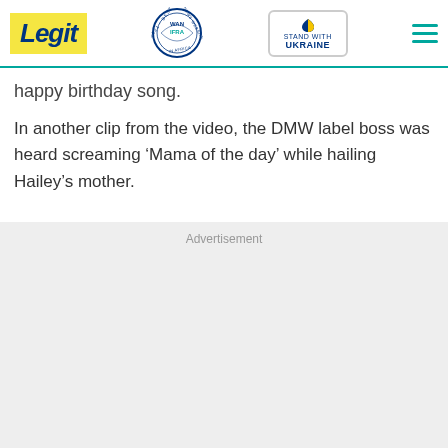Legit | WAN IFRA 2021 Best News Website in Africa | Stand with Ukraine
happy birthday song.
In another clip from the video, the DMW label boss was heard screaming ‘Mama of the day’ while hailing Hailey’s mother.
Advertisement